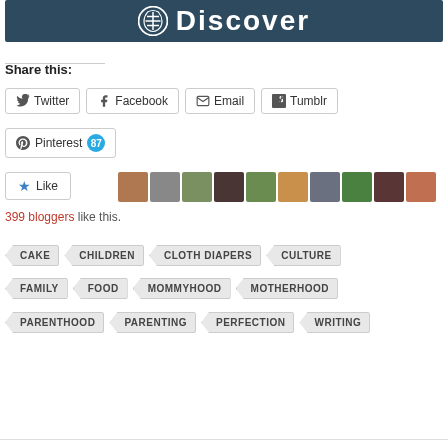[Figure (screenshot): WordPress Discover banner header with logo and text on dark blue background]
Share this:
Twitter  Facebook  Email  Tumblr
Pinterest 87
Like
399 bloggers like this.
CAKE
CHILDREN
CLOTH DIAPERS
CULTURE
FAMILY
FOOD
MOMMYHOOD
MOTHERHOOD
PARENTHOOD
PARENTING
PERFECTION
WRITING